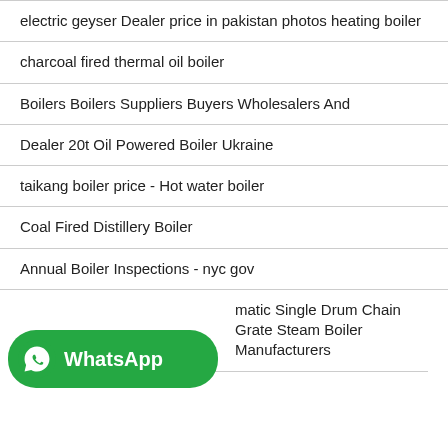electric geyser Dealer price in pakistan photos heating boiler
charcoal fired thermal oil boiler
Boilers Boilers Suppliers Buyers Wholesalers And
Dealer 20t Oil Powered Boiler Ukraine
taikang boiler price - Hot water boiler
Coal Fired Distillery Boiler
Annual Boiler Inspections - nyc gov
[Figure (logo): WhatsApp button with green rounded rectangle background, phone icon, and 'WhatsApp' text in white bold]
Automatic Single Drum Chain Grate Steam Boiler Manufacturers